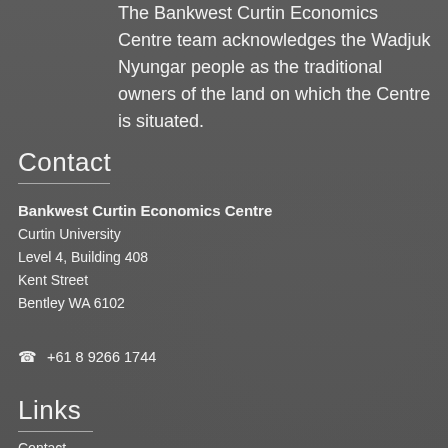The Bankwest Curtin Economics Centre team acknowledges the Wadjuk Nyungar people as the traditional owners of the land on which the Centre is situated.
Contact
Bankwest Curtin Economics Centre
Curtin University
Level 4, Building 408
Kent Street
Bentley WA 6102
+61 8 9266 1744
Links
Contact